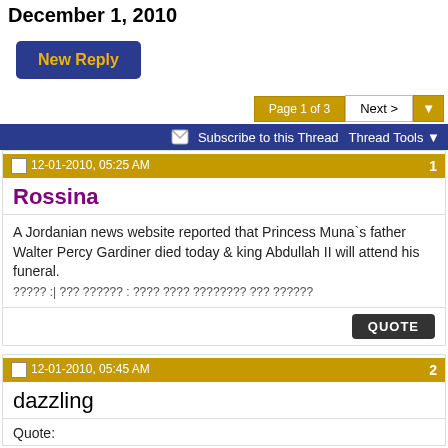December 1, 2010
New Reply
Page 1 of 3  Next >
Subscribe to this Thread   Thread Tools
12-01-2010, 05:25 AM   1
Rossina
A Jordanian news website reported that Princess Muna`s father Walter Percy Gardiner died today & king Abdullah II will attend his funeral.
????? :| ??? ?????? : ???? ???? ???????? ??? ??????
QUOTE
12-01-2010, 05:45 AM   2
dazzling
Quote: